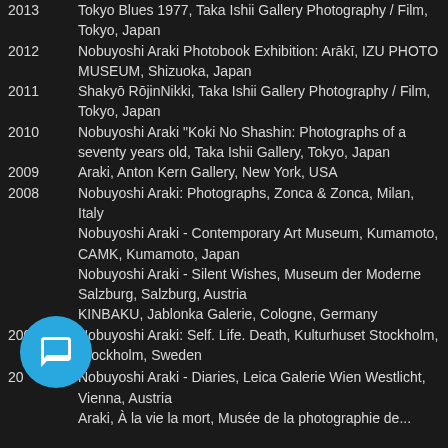2013 — Tokyo Blues 1977, Taka Ishii Gallery Photography / Film, Tokyo, Japan
2012 — Nobuyoshi Araki Photobook Exhibition: Arākī, IZU PHOTO MUSEUM, Shizuoka, Japan
2011 — Shakyō RōjinNikki, Taka Ishii Gallery Photography / Film, Tokyo, Japan
2010 — Nobuyoshi Araki "Koki No Shashin: Photographs of a seventy years old, Taka Ishii Gallery, Tokyo, Japan
2009 — Araki, Anton Kern Gallery, New York, USA
2008 — Nobuyoshi Araki: Photographs, Zonca & Zonca, Milan, Italy
2008 — Nobuyoshi Araki - Contemporary Art Museum, Kumamoto, CAMK, Kumamoto, Japan
2008 — Nobuyoshi Araki - Silent Wishes, Museum der Moderne Salzburg, Salzburg, Austria
2008 — KINBAKU, Jablonka Galerie, Cologne, Germany
2007 — Nobuyoshi Araki: Self. Life. Death, Kulturhuset Stockholm, Stockholm, Sweden
2006 — Nobuyoshi Araki - Diaries, Leica Galerie Wien Westlicht, Vienna, Austria
Araki, À la vie la mort, Musée de la photographie de...